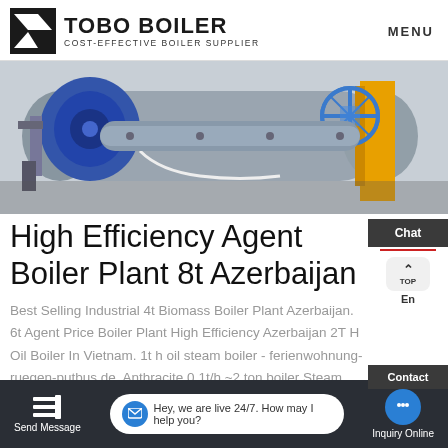[Figure (logo): TOBO BOILER logo with icon and tagline COST-EFFECTIVE BOILER SUPPLIER]
[Figure (photo): Industrial boiler equipment with blue motor assembly and yellow piping, silver cylindrical boiler body]
High Efficiency Agent Boiler Plant 8t Azerbaijan
Best Selling Industrial 4t Biomass Boiler Plant Azerbaijan. 6t Agent Price Boiler Plant High Efficiency Azerbaijan 2T H Oil Boiler In Vietnam. 1t h oil steam boiler - ferienwohnung-ruegen-putbus.de. Anthracite 0.1t/h ~2 ton boiler Steam Boiler ... td ...